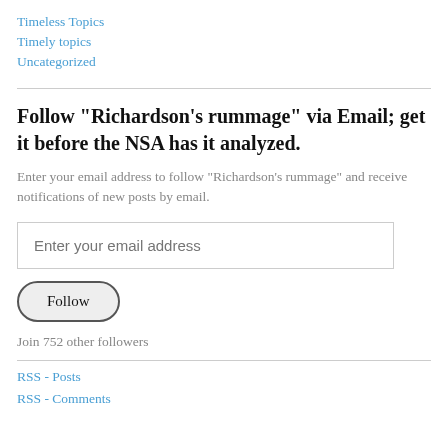Timeless Topics
Timely topics
Uncategorized
Follow "Richardson's rummage" via Email; get it before the NSA has it analyzed.
Enter your email address to follow "Richardson's rummage" and receive notifications of new posts by email.
Enter your email address
Follow
Join 752 other followers
RSS - Posts
RSS - Comments